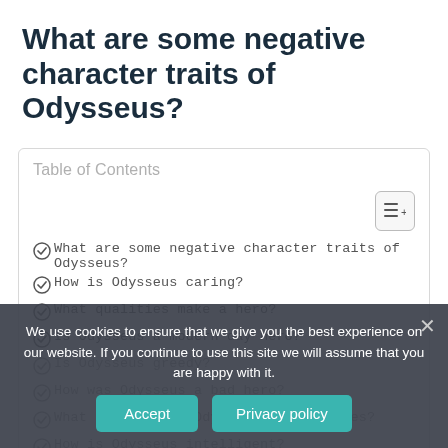What are some negative character traits of Odysseus?
| Table of Contents |
| --- |
| What are some negative character traits of Odysseus? |
| How is Odysseus caring? |
| What qualities make a hero? |
| Is Odysseus a modern day hero? |
| Is Odysseus greedy? |
| How was Odysseus a bad hero? |
| What are some of Odysseus's weaknesses? |
| How is Odysseus intelligent? |
| What a hero is? |
| Is Odysseus a good person? |
We use cookies to ensure that we give you the best experience on our website. If you continue to use this site we will assume that you are happy with it.